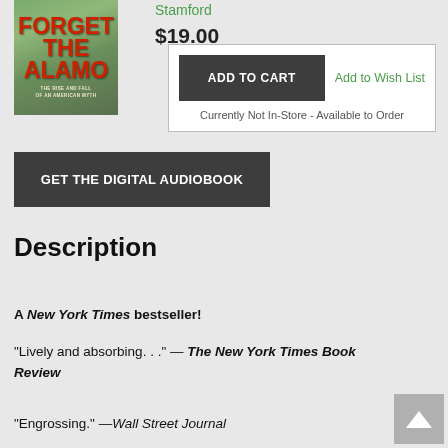[Figure (illustration): Book cover for 'Forget the Alamo: The Rise and Fall of an American Myth' showing red stylized text on a green/earth-toned background]
Stamford
$19.00
ADD TO CART
Add to Wish List
Currently Not In-Store - Available to Order
GET THE DIGITAL AUDIOBOOK
Description
A New York Times bestseller!
“Lively and absorbing. . .” — The New York Times Book Review
“Engrossing.” —Wall Street Journal